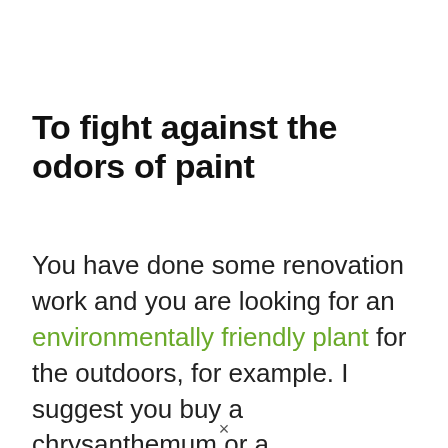To fight against the odors of paint
You have done some renovation work and you are looking for an environmentally friendly plant for the outdoors, for example. I suggest you buy a chrysanthemum or a philodendron which are excellent trichloroethylene